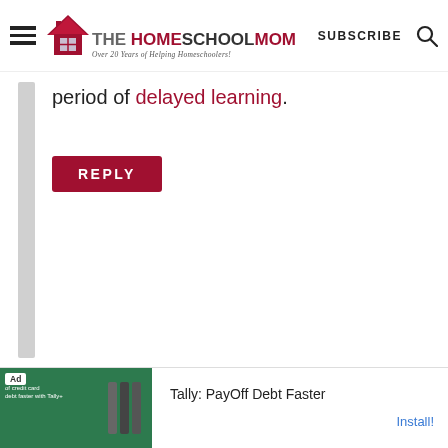THE HOMESCHOOL MOM — Over 20 Years of Helping Homeschoolers! | SUBSCRIBE
period of delayed learning.
REPLY
[Figure (advertisement): Ad banner: Tally: PayOff Debt Faster — Install!]